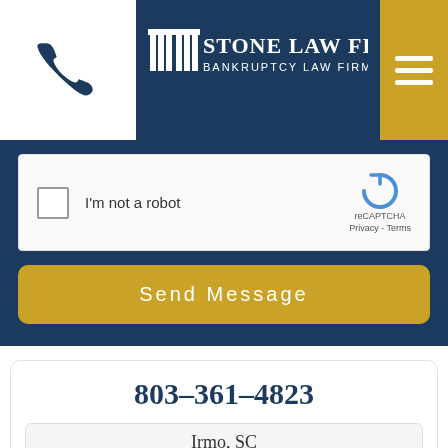[Figure (logo): Stone Law Firm - Bankruptcy Law Firm logo with phone icon and hamburger menu on dark blue and gold header]
[Figure (screenshot): reCAPTCHA widget with checkbox and 'I'm not a robot' text]
Send Message
803-361-4823
Irmo, SC
[Figure (map): Google Map showing Irmo, SC area with Lake Murray of Richland visible]